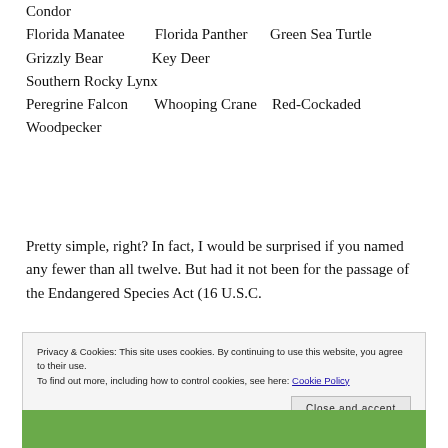Condor
Florida Manatee   Florida Panther   Green Sea Turtle
Grizzly Bear   Key Deer
Southern Rocky Lynx
Peregrine Falcon   Whooping Crane   Red-Cockaded Woodpecker
Pretty simple, right? In fact, I would be surprised if you named any fewer than all twelve. But had it not been for the passage of the Endangered Species Act (16 U.S.C.
Privacy & Cookies: This site uses cookies. By continuing to use this website, you agree to their use.
To find out more, including how to control cookies, see here: Cookie Policy
[Figure (photo): Bottom strip showing green foliage/nature photo partially visible]